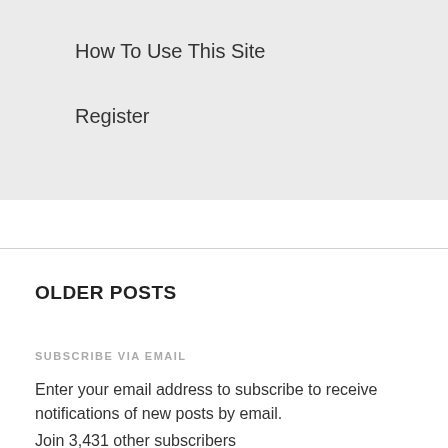How To Use This Site
Register
OLDER POSTS
SUBSCRIBE VIA EMAIL
Enter your email address to subscribe to receive notifications of new posts by email.
Join 3,431 other subscribers